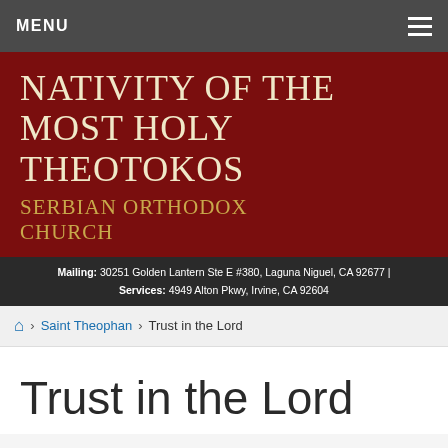MENU
Nativity of the Most Holy Theotokos Serbian Orthodox Church
Mailing: 30251 Golden Lantern Ste E #380, Laguna Niguel, CA 92677 | Services: 4949 Alton Pkwy, Irvine, CA 92604
Home › Saint Theophan › Trust in the Lord
Trust in the Lord